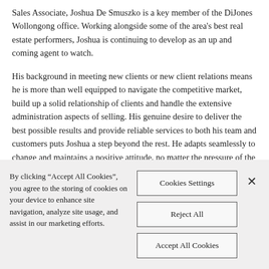Sales Associate, Joshua De Smuszko is a key member of the DiJones Wollongong office. Working alongside some of the area's best real estate performers, Joshua is continuing to develop as an up and coming agent to watch.
His background in meeting new clients or new client relations means he is more than well equipped to navigate the competitive market, build up a solid relationship of clients and handle the extensive administration aspects of selling. His genuine desire to deliver the best possible results and provide reliable services to both his team and customers puts Joshua a step beyond the rest. He adapts seamlessly to change and maintains a positive attitude, no matter the pressure of the situation at hand.
By clicking “Accept All Cookies”, you agree to the storing of cookies on your device to enhance site navigation, analyze site usage, and assist in our marketing efforts.
Cookies Settings
Reject All
Accept All Cookies